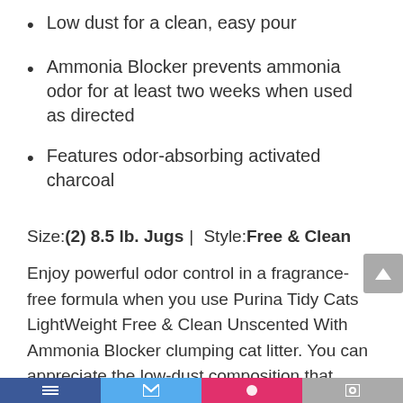Low dust for a clean, easy pour
Ammonia Blocker prevents ammonia odor for at least two weeks when used as directed
Features odor-absorbing activated charcoal
Size:(2) 8.5 lb. Jugs | Style:Free & Clean
Enjoy powerful odor control in a fragrance-free formula when you use Purina Tidy Cats LightWeight Free & Clean Unscented With Ammonia Blocker clumping cat litter. You can appreciate the low-dust composition that pours easily and cleanly, keeping messes to a minimum. This formula is free from fragrances and dyes, giving you an unscented litter option to meet your and your cat's preferences. Activated